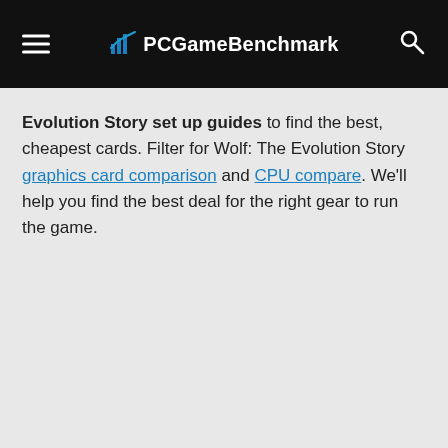PCGameBenchmark
Evolution Story set up guides to find the best, cheapest cards. Filter for Wolf: The Evolution Story graphics card comparison and CPU compare. We'll help you find the best deal for the right gear to run the game.